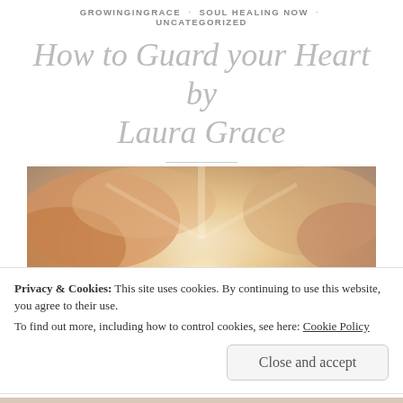GROWINGINGRACE · SOUL HEALING NOW · UNCATEGORIZED
How to Guard your Heart by Laura Grace
May 8, 2018 · Laura Grace · Leave a comment
[Figure (photo): Hero image of golden chess pieces against a glowing cloudy sky background]
Privacy & Cookies: This site uses cookies. By continuing to use this website, you agree to their use.
To find out more, including how to control cookies, see here: Cookie Policy
[Close and accept]